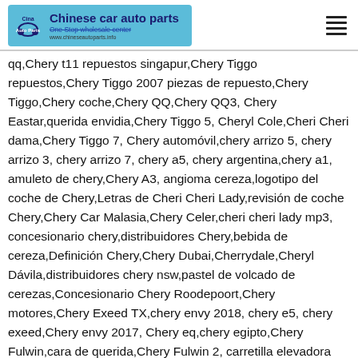Chinese car auto parts — One Stop wholesale center
qq,Chery t11 repuestos singapur,Chery Tiggo repuestos,Chery Tiggo 2007 piezas de repuesto,Chery Tiggo,Chery coche,Chery QQ,Chery QQ3, Chery Eastar,querida envidia,Chery Tiggo 5, Cheryl Cole,Cheri Cheri dama,Chery Tiggo 7, Chery automóvil,chery arrizo 5, chery arrizo 3, chery arrizo 7, chery a5, chery argentina,chery a1, amuleto de chery,Chery A3, angioma cereza,logotipo del coche de Chery,Letras de Cheri Cheri Lady,revisión de coche Chery,Chery Car Malasia,Chery Celer,cheri cheri lady mp3, concesionario chery,distribuidores Chery,bebida de cereza,Definición Chery,Chery Dubai,Cherrydale,Cheryl Dávila,distribuidores chery nsw,pastel de volcado de cerezas,Concesionario Chery Roodepoort,Chery motores,Chery Exeed TX,chery envy 2018, chery e5, chery exeed,Chery envy 2017, Chery eq,chery egipto,Chery Fulwin,cara de querida,Chery Fulwin 2, carretilla elevadora Chery,fruta de cereza,Chery a la venta chery fx2020, chery